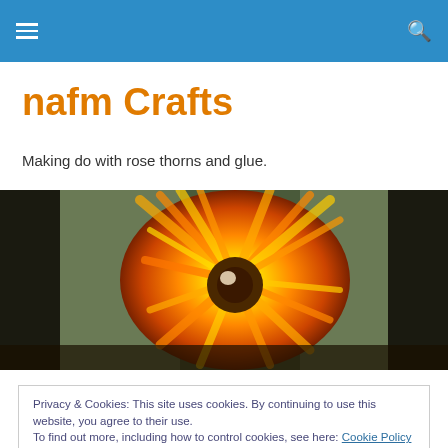nafm Crafts — site header bar with hamburger menu and search icon
nafm Crafts
Making do with rose thorns and glue.
[Figure (photo): Close-up photo of an orange and red flower with glowing center, resting on green fabric background]
Privacy & Cookies: This site uses cookies. By continuing to use this website, you agree to their use. To find out more, including how to control cookies, see here: Cookie Policy
My favorite children's book of all time is "Stand Back,"